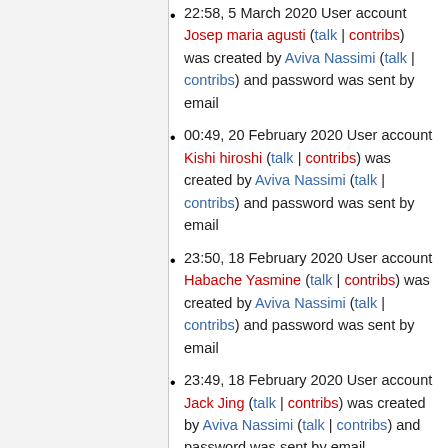22:58, 5 March 2020 User account Josep maria agusti (talk | contribs) was created by Aviva Nassimi (talk | contribs) and password was sent by email
00:49, 20 February 2020 User account Kishi hiroshi (talk | contribs) was created by Aviva Nassimi (talk | contribs) and password was sent by email
23:50, 18 February 2020 User account Habache Yasmine (talk | contribs) was created by Aviva Nassimi (talk | contribs) and password was sent by email
23:49, 18 February 2020 User account Jack Jing (talk | contribs) was created by Aviva Nassimi (talk | contribs) and password was sent by email